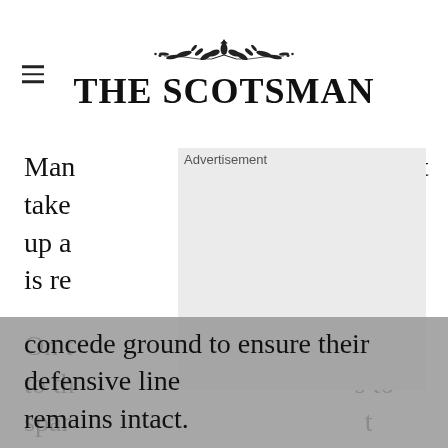THE SCOTSMAN
Man [t take ce up a ball is re le.
On t on to th s to spar t “um e line) to an old fashioned drift defence, which teams employ when they are prepared to concede ground to ensure their defensive line remains intact.